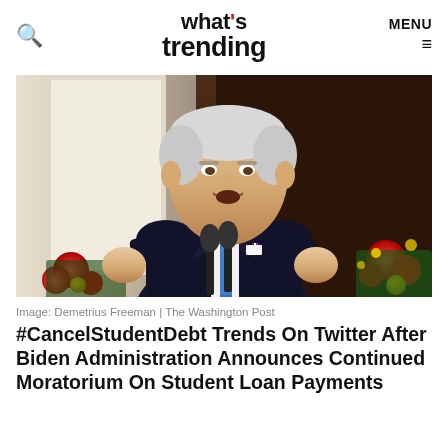what's trending — MENU
[Figure (photo): President Biden speaking at a podium with microphones, wearing a dark suit and blue tie, with fists raised, Christmas decorations visible in the background]
Image: Demetrius Freeman | The Washington Post
#CancelStudentDebt Trends On Twitter After Biden Administration Announces Continued Moratorium On Student Loan Payments